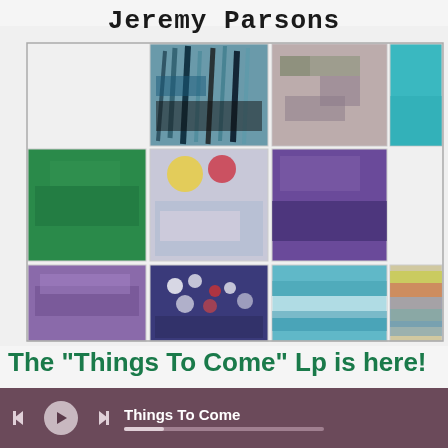Jeremy Parsons
[Figure (illustration): Album artwork grid showing 9 abstract paintings arranged in a 3x3-like grid on a white background. Top row: abstract blue/black strokes, purple-beige muted tones, solid teal. Middle row: solid green, colorful yellow/red/blue abstract, purple abstract waves. Bottom row: purple wash, dark blue with white/red dots, teal/white waves, yellow/orange/green horizon.]
The "Things To Come" Lp is here!
Things To Come